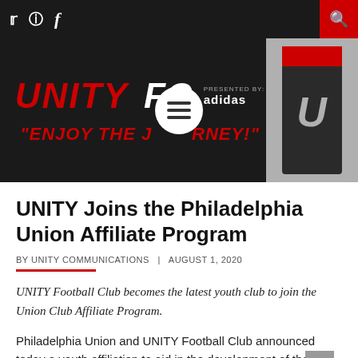[Figure (screenshot): Unity FC website header banner with dark background. Shows 'UNITY FC PRESENTED BY adidas' logo in red and white italic text, with tagline '"ENJOY THE JOURNEY!"' in red italic. A hamburger menu circle overlays the center. Right side shows a partial shield/crest graphic in gray, black and red. Top navigation bar with social media icons (Twitter, Instagram, Facebook) and a red search button.]
UNITY Joins the Philadelphia Union Affiliate Program
BY UNITY COMMUNICATIONS   |   AUGUST 1, 2020
UNITY Football Club becomes the latest youth club to join the Union Club Affiliate Program.
Philadelphia Union and UNITY Football Club announced today a youth affiliation to aid in the development of the players, the athletes and our community and ...